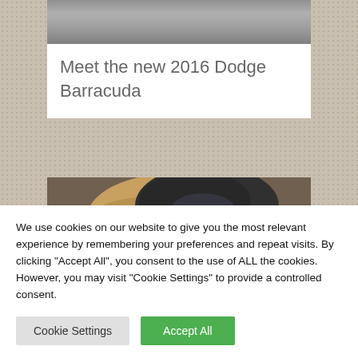[Figure (photo): Partial photo at top of a card, appears to be a vehicle scene, mostly grey/road tones, cropped]
Meet the new 2016 Dodge Barracuda
[Figure (photo): A person wearing a motorcycle helmet with blonde hair visible, looking down, wearing dark gear, with a video play button overlay]
We use cookies on our website to give you the most relevant experience by remembering your preferences and repeat visits. By clicking "Accept All", you consent to the use of ALL the cookies. However, you may visit "Cookie Settings" to provide a controlled consent.
Cookie Settings
Accept All